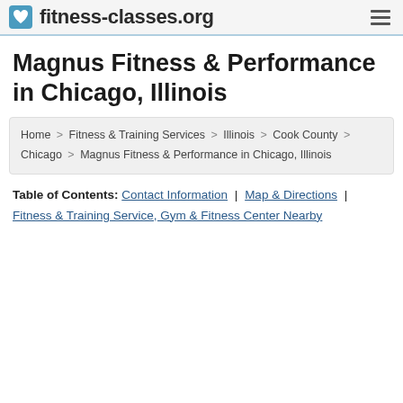fitness-classes.org
Magnus Fitness & Performance in Chicago, Illinois
Home > Fitness & Training Services > Illinois > Cook County > Chicago > Magnus Fitness & Performance in Chicago, Illinois
Table of Contents: Contact Information | Map & Directions | Fitness & Training Service, Gym & Fitness Center Nearby